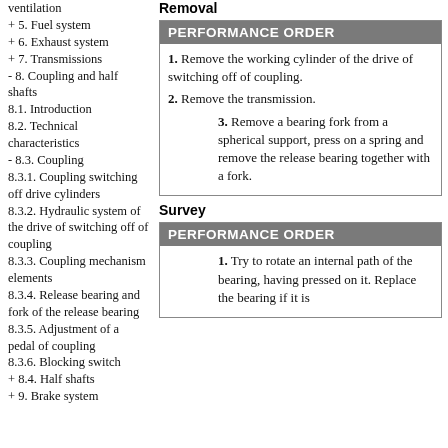ventilation
+ 5. Fuel system
+ 6. Exhaust system
+ 7. Transmissions
- 8. Coupling and half shafts
8.1. Introduction
8.2. Technical characteristics
- 8.3. Coupling
8.3.1. Coupling switching off drive cylinders
8.3.2. Hydraulic system of the drive of switching off of coupling
8.3.3. Coupling mechanism elements
8.3.4. Release bearing and fork of the release bearing
8.3.5. Adjustment of a pedal of coupling
8.3.6. Blocking switch
+ 8.4. Half shafts
+ 9. Brake system
Removal
| PERFORMANCE ORDER |
| --- |
| 1. Remove the working cylinder of the drive of switching off of coupling.
2. Remove the transmission.
3. Remove a bearing fork from a spherical support, press on a spring and remove the release bearing together with a fork. |
Survey
| PERFORMANCE ORDER |
| --- |
| 1. Try to rotate an internal path of the bearing, having pressed on it. Replace the bearing if it is... |